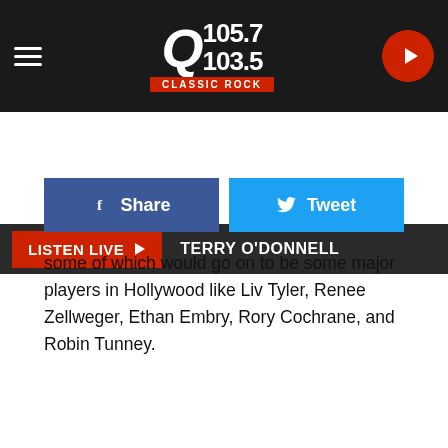[Figure (screenshot): Q105.7/103.5 Classic Rock radio station header with hamburger menu, logo, and play button]
LISTEN LIVE ▶  TERRY O'DONNELL
[Figure (infographic): Facebook Share button and Twitter Tweet button]
some of which would go on to be some major players in Hollywood like Liv Tyler, Renee Zellweger, Ethan Embry, Rory Cochrane, and Robin Tunney.
[Figure (other): GET OUR APP red button]
Now seeing as though that this film is one of my all time favorite flicks naturally I'm a little hesitant on deciding how I feel about the Broadway revival. On one hand it is going to be hard for me to watch this one without the original cast and there's always that fear, that you know, they are going to ruin it. Then I read that the Critics favorite Good Neil brings will b